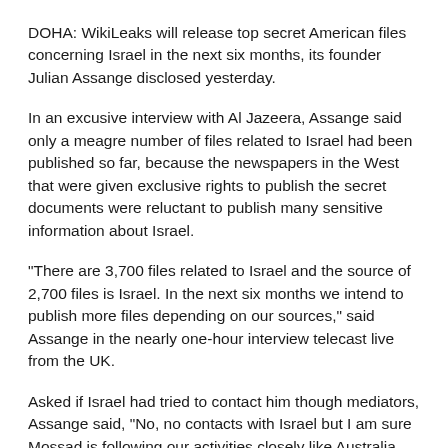DOHA: WikiLeaks will release top secret American files concerning Israel in the next six months, its founder Julian Assange disclosed yesterday.
In an excusive interview with Al Jazeera, Assange said only a meagre number of files related to Israel had been published so far, because the newspapers in the West that were given exclusive rights to publish the secret documents were reluctant to publish many sensitive information about Israel.
“There are 3,700 files related to Israel and the source of 2,700 files is Israel. In the next six months we intend to publish more files depending on our sources,” said Assange in the nearly one-hour interview telecast live from the UK.
Asked if Israel had tried to contact him though mediators, Assange said, “No, no contacts with Israel but I am sure Mossad is following our activities closely like Australia, Sweden and the CIA.